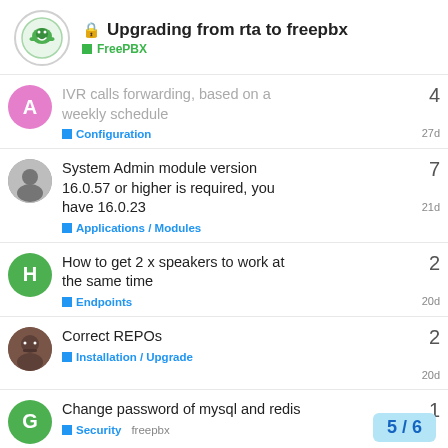Upgrading from rta to freepbx — FreePBX
IVR calls forwarding, based on a weekly schedule — Configuration — 27d — 4 replies
System Admin module version 16.0.57 or higher is required, you have 16.0.23 — Applications / Modules — 21d — 7 replies
How to get 2 x speakers to work at the same time — Endpoints — 20d — 2 replies
Correct REPOs — Installation / Upgrade — 20d — 2 replies
Change password of mysql and redis — Security — freepbx — 1 reply
5 / 6